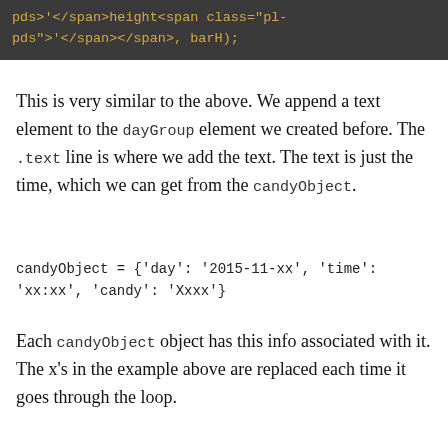[Figure (screenshot): Code block showing HTML with span elements: pds>'</span>height<span class="pl-pds">'</span></span>, barH);]
This is very similar to the above. We append a text element to the dayGroup element we created before. The .text line is where we add the text. The text is just the time, which we can get from the candyObject.
candyObject = {'day': '2015-11-xx', 'time': 'xx:xx', 'candy': 'Xxxx'}
Each candyObject object has this info associated with it. The x's in the example above are replaced each time it goes through the loop.
The x position, xPos, is set and the same as the candy wrapper image.
The y position will be the same for each time period. We'll set it initially at the height of the